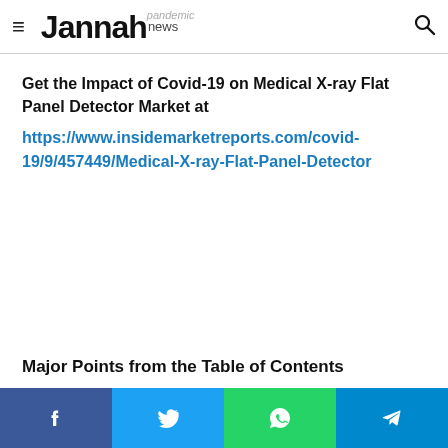Jannah news
Get the Impact of Covid-19 on Medical X-ray Flat Panel Detector Market at https://www.insidemarketreports.com/covid-19/9/457449/Medical-X-ray-Flat-Panel-Detector
Major Points from the Table of Contents